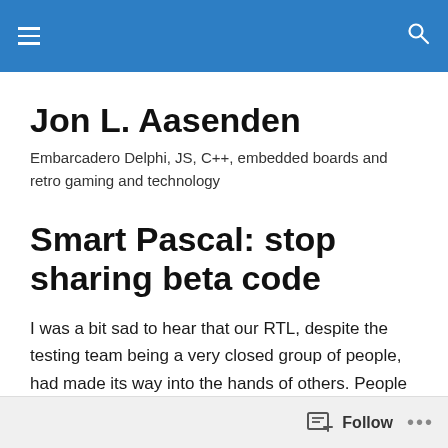[hamburger menu icon] [search icon]
Jon L. Aasenden
Embarcadero Delphi, JS, C++, embedded boards and retro gaming and technology
Smart Pascal: stop sharing beta code
I was a bit sad to hear that our RTL, despite the testing team being a very closed group of people, had made its way into the hands of others. People who then blog or comment that its unstable or that to many changes has
Follow ...